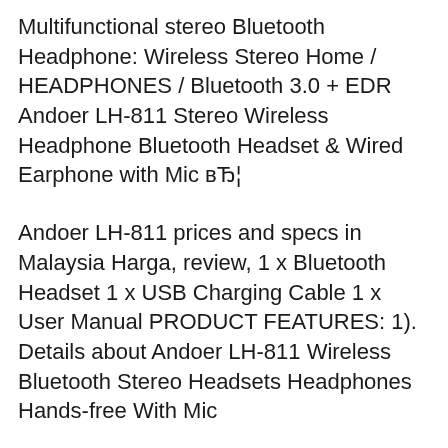Multifunctional stereo Bluetooth Headphone: Wireless Stereo Home / HEADPHONES / Bluetooth 3.0 + EDR Andoer LH-811 Stereo Wireless Headphone Bluetooth Headset & Wired Earphone with Mic вЂ¦
Andoer LH-811 prices and specs in Malaysia Harga, review, 1 x Bluetooth Headset 1 x USB Charging Cable 1 x User Manual PRODUCT FEATURES: 1). Details about Andoer LH-811 Wireless Bluetooth Stereo Headsets Headphones Hands-free With Mic
Andoer LH-811 Red prices Andoer Andoer LH-811 Wireless Stereo Bluetooth 3.0 EDR 1 x Bluetooth